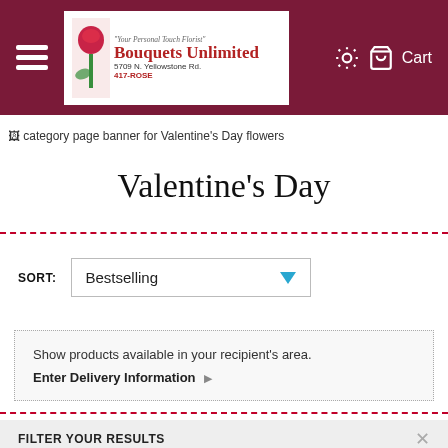Bouquets Unlimited | 5709 N. Yellowstone Rd. | 417-ROSE | Cart
[Figure (screenshot): Category page banner for Valentine's Day flowers (broken image placeholder)]
Valentine's Day
SORT: Bestselling
Show products available in your recipient's area. Enter Delivery Information
FILTER YOUR RESULTS
Teleflora's Precious in
This Mother's Day Send